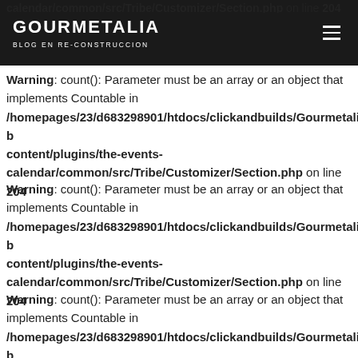GOURMETALIA BLOG EN RE-CONSTRUCCION
Warning: count(): Parameter must be an array or an object that implements Countable in /homepages/23/d683298901/htdocs/clickandbuilds/Gourmetalia/wp-content/plugins/the-events-calendar/common/src/Tribe/Customizer/Section.php on line 204
Warning: count(): Parameter must be an array or an object that implements Countable in /homepages/23/d683298901/htdocs/clickandbuilds/Gourmetalia/wp-content/plugins/the-events-calendar/common/src/Tribe/Customizer/Section.php on line 204
Warning: count(): Parameter must be an array or an object that implements Countable in /homepages/23/d683298901/htdocs/clickandbuilds/Gourmetalia/wp-content/plugins/the-events-calendar/common/src/Tribe/Customizer/Section.php on line 204